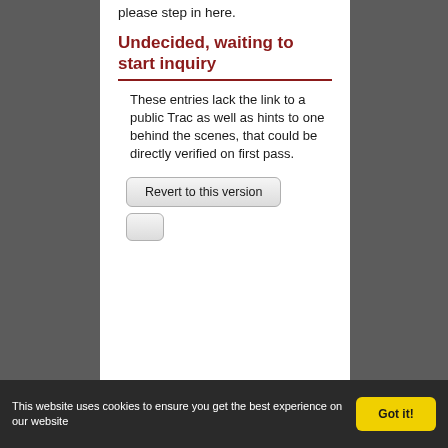please step in here.
Undecided, waiting to start inquiry
These entries lack the link to a public Trac as well as hints to one behind the scenes, that could be directly verified on first pass.
Revert to this version
This website uses cookies to ensure you get the best experience on our website  Got it!